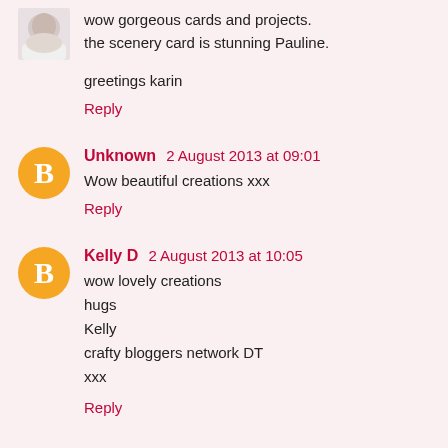wow gorgeous cards and projects.
the scenery card is stunning Pauline.

greetings karin
Reply
Unknown  2 August 2013 at 09:01
Wow beautiful creations xxx
Reply
Kelly D  2 August 2013 at 10:05
wow lovely creations
hugs
Kelly
crafty bloggers network DT
xxx
Reply